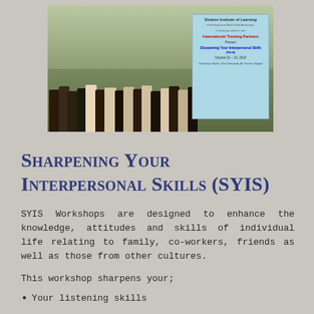[Figure (photo): Group photo of training workshop participants standing outdoors with a light blue banner reading 'Shalom Institute of Learning, International Training Partners Present, Sharpening Your Interpersonal Skills (Hindi), October 21-22, 2015']
Sharpening Your Interpersonal Skills (SYIS)
SYIS Workshops are designed to enhance the knowledge, attitudes and skills of individual life relating to family, co-workers, friends as well as those from other cultures.
This workshop sharpens your;
Your listening skills